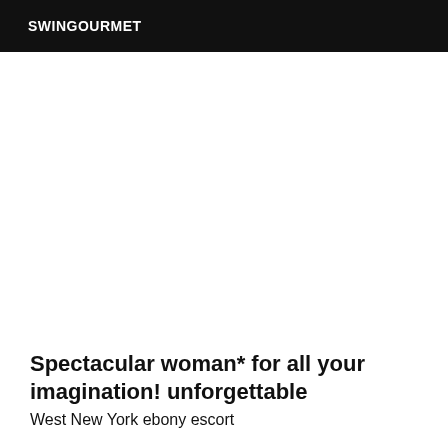SWINGOURMET
Spectacular woman* for all your imagination! unforgettable
West New York ebony escort
Good morning, Gentlemen... Nice to meet you... I am charmante... Thank you for entering my world. I am